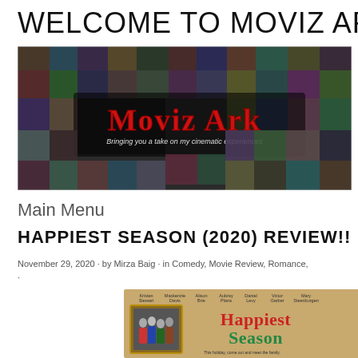WELCOME TO MOVIZ ARK!
[Figure (illustration): Moviz Ark website banner — a collage of movie poster thumbnails with 'Moviz Ark' text in red stylized font in the center and tagline 'Bringing you a take on my cinematic experiences' below]
Main Menu
HAPPIEST SEASON (2020) REVIEW!!
November 29, 2020 · by Mirza Baig · in Comedy, Movie Review, Romance, .
[Figure (photo): Happiest Season (2020) movie poster showing cast including Kristen Stewart, Mackenzie Davis, Alison Brie, Aubrey Plaza, Daniel Levy, Victor Garber, Mary Steenburgen on a warm tan background with the title 'Happiest Season' in red and green festive font]